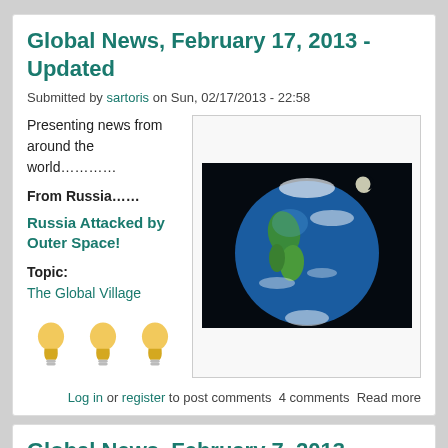Global News, February 17, 2013 - Updated
Submitted by sartoris on Sun, 02/17/2013 - 22:58
Presenting news from around the world…………
From Russia……
Russia Attacked by Outer Space!
Topic:
The Global Village
[Figure (photo): Photograph of planet Earth from space showing North and South America, against a black background with a small moon visible.]
Log in or register to post comments  4 comments  Read more
Global News, February 7, 2013